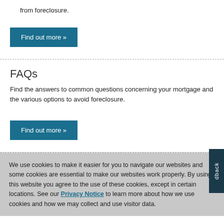from foreclosure.
Find out more »
FAQs
Find the answers to common questions concerning your mortgage and the various options to avoid foreclosure.
Find out more »
We use cookies to make it easier for you to navigate our websites and some cookies are essential to make our websites work properly. By using this website you agree to the use of these cookies, except in certain locations. See our Privacy Notice to learn more about how we use cookies and how we may collect and use visitor data.